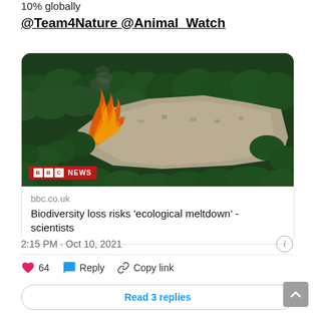10% globally
@Team4Nature @Animal_Watch
[Figure (photo): Aerial photo of Amazon deforestation with fire and cleared land surrounded by forest, with BBC NEWS badge overlay]
bbc.co.uk
Biodiversity loss risks 'ecological meltdown' - scientists
2:15 PM · Oct 10, 2021
64  Reply  Copy link
Read 3 replies